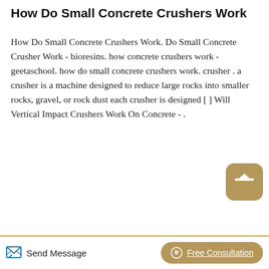How Do Small Concrete Crushers Work
How Do Small Concrete Crushers Work. Do Small Concrete Crusher Work - bioresins. how concrete crushers work - geetaschool. how do small concrete crushers work. crusher . a crusher is a machine designed to reduce large rocks into smaller rocks, gravel, or rock dust each crusher is designed [ ] Will Vertical Impact Crushers Work On Concrete - .
[Figure (other): Industrial concrete crusher machinery with large red and black wheels/drums in a factory setting]
Read More
Send Message
Free Consultation